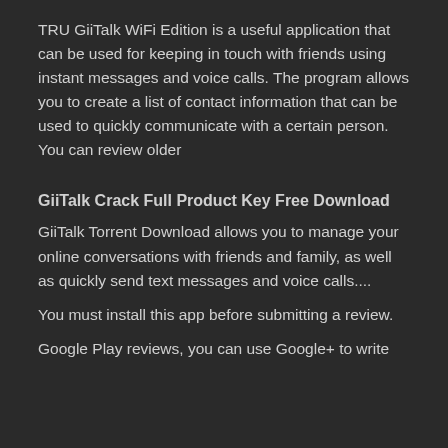TRU GiiTalk WiFi Edition is a useful application that can be used for keeping in touch with friends using instant messages and voice calls. The program allows you to create a list of contact information that can be used to quickly communicate with a certain person. You can review older
GiiTalk Crack Full Product Key Free Download
GiiTalk Torrent Download allows you to manage your online conversations with friends and family, as well as quickly send text messages and voice calls....
You must install this app before submitting a review.
Google Play reviews, you can use Google+ to write